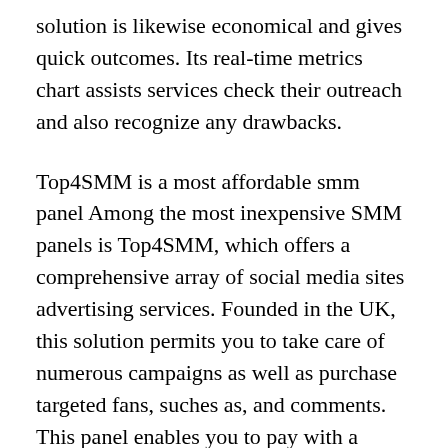solution is likewise economical and gives quick outcomes. Its real-time metrics chart assists services check their outreach and also recognize any drawbacks.
Top4SMM is a most affordable smm panel Among the most inexpensive SMM panels is Top4SMM, which offers a comprehensive array of social media sites advertising services. Founded in the UK, this solution permits you to take care of numerous campaigns as well as purchase targeted fans, suches as, and comments. This panel enables you to pay with a variety of various payment methods, including cryptocurrency, as well as can additionally be used to run associate advertising and marketing projects. You can additionally purchase social